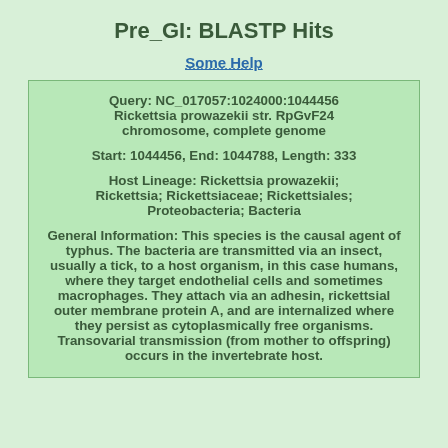Pre_GI: BLASTP Hits
Some Help
Query: NC_017057:1024000:1044456 Rickettsia prowazekii str. RpGvF24 chromosome, complete genome

Start: 1044456, End: 1044788, Length: 333

Host Lineage: Rickettsia prowazekii; Rickettsia; Rickettsiaceae; Rickettsiales; Proteobacteria; Bacteria

General Information: This species is the causal agent of typhus. The bacteria are transmitted via an insect, usually a tick, to a host organism, in this case humans, where they target endothelial cells and sometimes macrophages. They attach via an adhesin, rickettsial outer membrane protein A, and are internalized where they persist as cytoplasmically free organisms. Transovarial transmission (from mother to offspring) occurs in the invertebrate host.